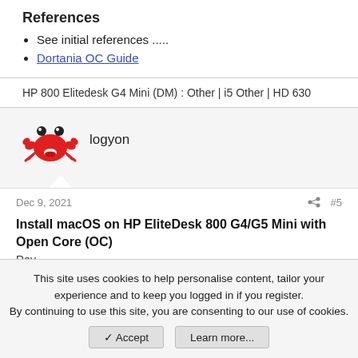References
See initial references .....
Dortania OC Guide
HP 800 Elitedesk G4 Mini (DM) :  Other |  i5 Other |  HD 630
logyon
Dec 9, 2021   #5
Install macOS on HP EliteDesk 800 G4/G5 Mini with Open Core (OC)
Rev
This site uses cookies to help personalise content, tailor your experience and to keep you logged in if you register.
By continuing to use this site, you are consenting to our use of cookies.